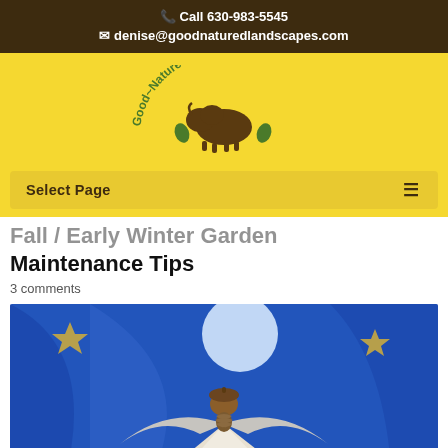📞 Call 630-983-5545
✉ denise@goodnaturedlandscapes.com
[Figure (logo): Good-Natured Landscapes LLC logo with bison and arched text on yellow background]
Select Page  ≡
Fall / Early Winter Garden Maintenance Tips
3 comments
[Figure (photo): A decorative angel figure made from natural materials (acorn head, pinecone body, leaf wings) against a blue starry background]